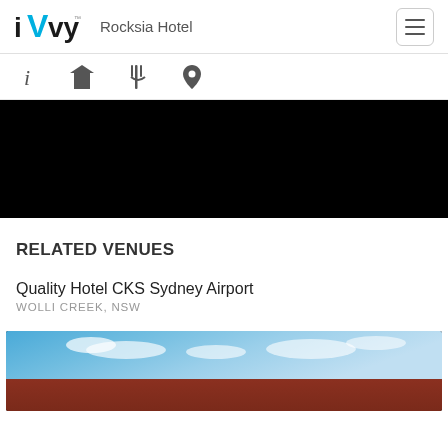iVvy — Rocksia Hotel
[Figure (screenshot): Navigation icon bar with info, cocktail, dining, and location pin icons]
[Figure (photo): Black/dark image area (video or dark photo placeholder)]
RELATED VENUES
Quality Hotel CKS Sydney Airport
WOLLI CREEK, NSW
[Figure (photo): Exterior photo of hotel building with brick facade and blue sky with clouds]